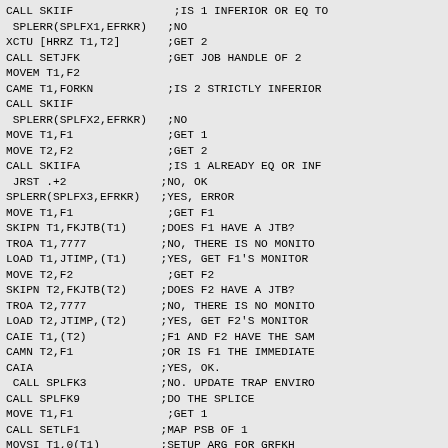CALL SKIIF                ;IS 1 INFERIOR OR EQ TO
 SPLERR(SPLFX1,EFRKR)    ;NO
XCTU [HRRZ T1,T2]        ;GET 2
CALL SETJFK              ;GET JOB HANDLE OF 2
MOVEM T1,F2
CAME T1,FORKN            ;IS 2 STRICTLY INFERIOR
CALL SKIIF
 SPLERR(SPLFX2,EFRKR)    ;NO
MOVE T1,F1               ;GET 1
MOVE T2,F2               ;GET 2
CALL SKIIFA              ;IS 1 ALREADY EQ OR INF
 JRST .+2               ;NO, OK
SPLERR(SPLFX3,EFRKR)    ;YES, ERROR
MOVE T1,F1               ;GET F1
SKIPN T1,FKJTB(T1)       ;DOES F1 HAVE A JTB?
TROA T1,7777             ;NO, THERE IS NO MONITO
LOAD T1,JTIMP,(T1)       ;YES, GET F1'S MONITOR
MOVE T2,F2               ;GET F2
SKIPN T2,FKJTB(T2)       ;DOES F2 HAVE A JTB?
TROA T2,7777             ;NO, THERE IS NO MONITO
LOAD T2,JTIMP,(T2)       ;YES, GET F2'S MONITOR
CAIE T1,(T2)             ;F1 AND F2 HAVE THE SAM
CAMN T2,F1               ;OR IS F1 THE IMMEDIATE
CAIA                     ;YES, OK.
 CALL SPLFK3             ;NO. UPDATE TRAP ENVIRO
CALL SPLFK9              ;DO THE SPLICE
MOVE T1,F1               ;GET 1
CALL SETLF1              ;MAP PSB OF 1
MOVSI T1,0(T1)           ;SETUP ARG FOR GRFKH
HRR T1,F2                ;PSB OFFSET ,, JOB HAND
CALL JRFKH               ;GET RELATIVE HANDLE